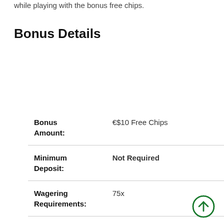while playing with the bonus free chips.
Bonus Details
| Field | Value |
| --- | --- |
| Bonus Amount: | €$10 Free Chips |
| Minimum Deposit: | Not Required |
| Wagering Requirements: | 75x |
| Eligible Games: | Video slots |
| Cash-out: | €/$ 100 for players from Germany, Switzerland |